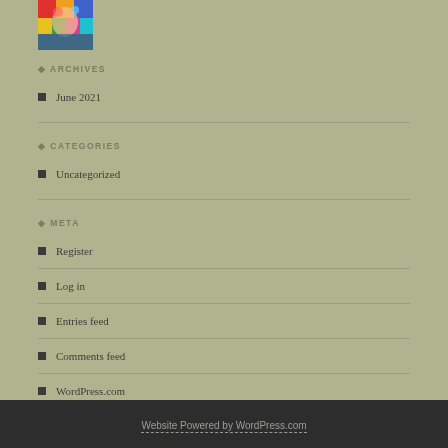[Figure (photo): Colorful portrait photo of a person with rainbow-bright artistic styling]
ARCHIVES
June 2021
CATEGORIES
Uncategorized
META
Register
Log in
Entries feed
Comments feed
WordPress.com
Website Powered by WordPress.com